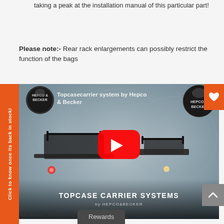taking a peak at the installation manual of this particular part!
Please note:- Rear rack enlargements can possibly restrict the function of the bags
[Figure (screenshot): YouTube video thumbnail for 'Topcasecarrier system by Hepco & Becker' showing motorcycle with topcase carrier systems, featuring Hepco & Becker logo, YouTube play button, and text 'TOPCASE CARRIER SYSTEMS by HEPCO&BECKER']
Brand:- Hepco & Becker Germany